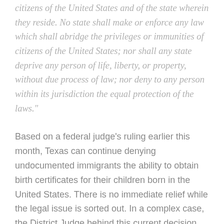citizens of the United States and of the state wherein they reside. No state shall make or enforce any law which shall abridge the privileges or immunities of citizens of the United States; nor shall any state deprive any person of life, liberty, or property, without due process of law; nor deny to any person within its jurisdiction the equal protection of the laws."
Based on a federal judge's ruling earlier this month, Texas can continue denying undocumented immigrants the ability to obtain birth certificates for their children born in the United States. There is no immediate relief while the legal issue is sorted out. In a complex case, the District Judge behind this current decision has gone on to explain the tough predicament he found himself in,